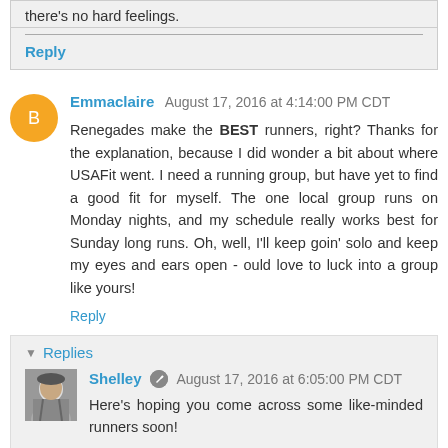there's no hard feelings.
Reply
Emmaclaire  August 17, 2016 at 4:14:00 PM CDT
Renegades make the BEST runners, right? Thanks for the explanation, because I did wonder a bit about where USAFit went. I need a running group, but have yet to find a good fit for myself. The one local group runs on Monday nights, and my schedule really works best for Sunday long runs. Oh, well, I'll keep goin' solo and keep my eyes and ears open - ould love to luck into a group like yours!
Reply
Replies
Shelley  August 17, 2016 at 6:05:00 PM CDT
Here's hoping you come across some like-minded runners soon!